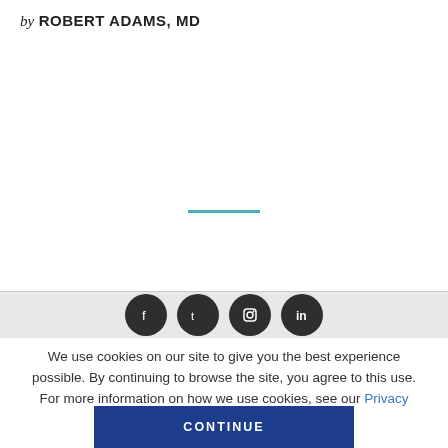by ROBERT ADAMS, MD
[Figure (other): Teal horizontal decorative line divider]
[Figure (other): Social media icons row: Facebook, Twitter, Instagram, LinkedIn — dark circular buttons on gray bar]
We use cookies on our site to give you the best experience possible. By continuing to browse the site, you agree to this use. For more information on how we use cookies, see our Privacy Policy.
CONTINUE